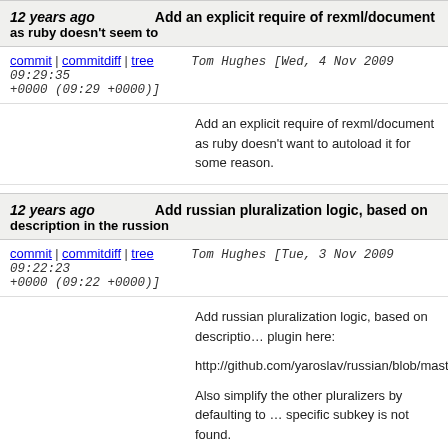12 years ago   Add an explicit require of rexml/document as ruby doesn't seem to
commit | commitdiff | tree   Tom Hughes [Wed, 4 Nov 2009 09:29:35 +0000 (09:29 +0000)]
Add an explicit require of rexml/document as ruby doesn't want to autoload it for some reason.
12 years ago   Add russian pluralization logic, based on description in the russion
commit | commitdiff | tree   Tom Hughes [Tue, 3 Nov 2009 09:22:23 +0000 (09:22 +0000)]
Add russian pluralization logic, based on description in the plugin here:

http://github.com/yaroslav/russian/blob/master/lib/

Also simplify the other pluralizers by defaulting to specific subkey is not found.

Closes #2412.
12 years ago   Potlatch 1.2d